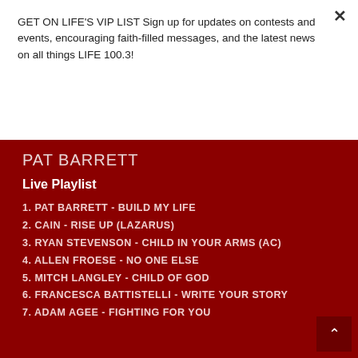GET ON LIFE'S VIP LIST Sign up for updates on contests and events, encouraging faith-filled messages, and the latest news on all things LIFE 100.3!
Subscribe
PAT BARRETT
Live Playlist
1. PAT BARRETT - BUILD MY LIFE
2. CAIN - RISE UP (LAZARUS)
3. RYAN STEVENSON - CHILD IN YOUR ARMS (AC)
4. ALLEN FROESE - NO ONE ELSE
5. MITCH LANGLEY - CHILD OF GOD
6. FRANCESCA BATTISTELLI - WRITE YOUR STORY
7. ADAM AGEE - FIGHTING FOR YOU